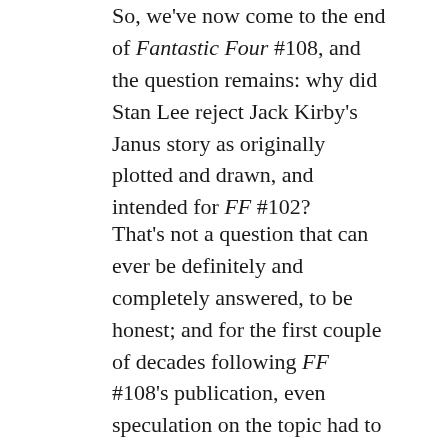So, we've now come to the end of Fantastic Four #108, and the question remains: why did Stan Lee reject Jack Kirby's Janus story as originally plotted and drawn, and intended for FF #102?
That's not a question that can ever be definitely and completely answered, to be honest; and for the first couple of decades following FF #108's publication, even speculation on the topic had to be largely conjectural, as all we had to go by was the printed comic, and perhaps a few anecdotes from people who were around at the time. But then, comics art dealer Mitch Itkowitz discovered some of Kirby's unused pencilled art for the story in Marvel's files, and arranged for it to be returned to the artists. This made it